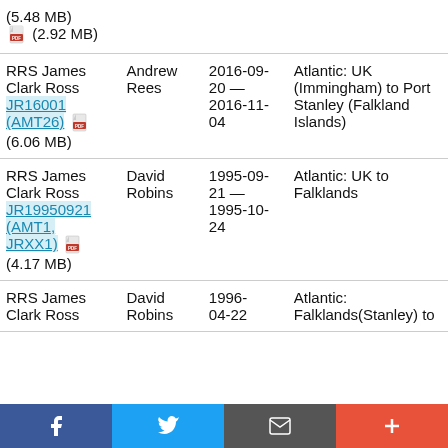| Cruise | Chief Scientist | Dates | Area |
| --- | --- | --- | --- |
| (5.48 MB)
[PDF icon] (2.92 MB) |  |  |  |
| RRS James Clark Ross JR16001 (AMT26) [PDF] (6.06 MB) | Andrew Rees | 2016-09-20 — 2016-11-04 | Atlantic: UK (Immingham) to Port Stanley (Falkland Islands) |
| RRS James Clark Ross JR19950921 (AMT1, JRXX1) [PDF] (4.17 MB) | David Robins | 1995-09-21 — 1995-10-24 | Atlantic: UK to Falklands |
| RRS James Clark Ross | David Robins | 1996-04-22 | Atlantic: Falklands(Stanley) to |